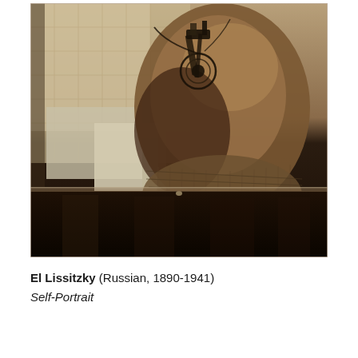[Figure (photo): A sepia-toned photographic self-portrait of El Lissitzky. The image shows a close-up of a man's face overlaid with a compass or drafting instrument held up to one eye, creating a double-exposure or photomontage effect. Behind the face is a geometric grid or architectural drawing. The lower portion of the image is very dark, almost black, with vertical column-like shapes. The photograph has a thin border.]
El Lissitzky (Russian, 1890-1941)
Self-Portrait